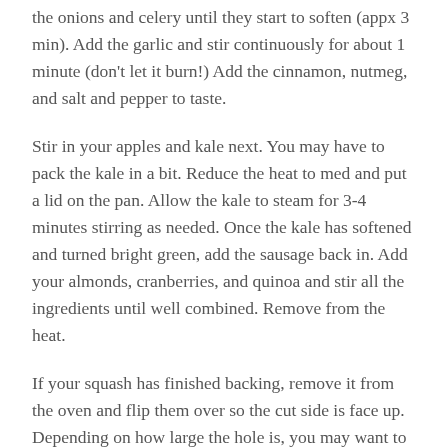the onions and celery until they start to soften (appx 3 min). Add the garlic and stir continuously for about 1 minute (don't let it burn!) Add the cinnamon, nutmeg, and salt and pepper to taste.
Stir in your apples and kale next. You may have to pack the kale in a bit. Reduce the heat to med and put a lid on the pan. Allow the kale to steam for 3-4 minutes stirring as needed. Once the kale has softened and turned bright green, add the sausage back in. Add your almonds, cranberries, and quinoa and stir all the ingredients until well combined. Remove from the heat.
If your squash has finished backing, remove it from the oven and flip them over so the cut side is face up. Depending on how large the hole is, you may want to scoop a little squash out so you can fill it with a good amount of the filling. I usually scoop a bit out of each of them and place it in another dish to go with any of the leftover filling I may have.
Fill each squash with a heaping amount of filling (carefully!) Return them back into the over and bake for a another couple